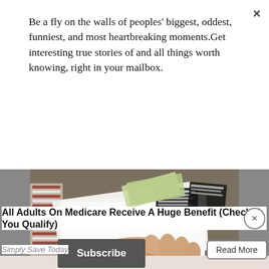Be a fly on the walls of peoples' biggest, oddest, funniest, and most heartbreaking moments.Get interesting true stories of and all things worth knowing, right in your mailbox.
[Figure (other): Close (×) button for popup overlay]
[Figure (screenshot): Subscribe button (dark grey, white text)]
[Figure (photo): A hand holding mail envelopes on a table, with printed labels and dollar bills visible]
All Adults On Medicare Receive A Huge Benefit (Check If You Qualify)
Simply Save Today
[Figure (other): Close (×) circular button on ad]
Read More
[Figure (photo): Bottom strip thumbnail image, partially visible]